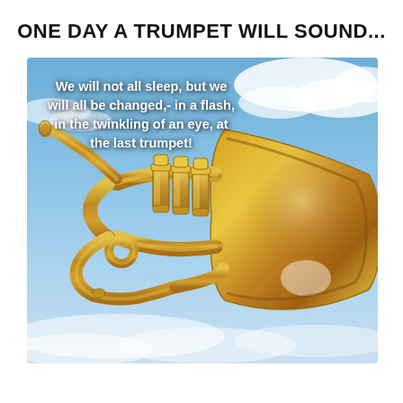ONE DAY A TRUMPET WILL SOUND...
[Figure (illustration): A gold/brass trumpet rendered in 3D, positioned diagonally against a blue sky with white clouds background. The bell of the trumpet faces the right side of the image. Text overlay reads: 'We will not all sleep, but we will all be changed,- in a flash, in the twinkling of an eye, at the last trumpet!']